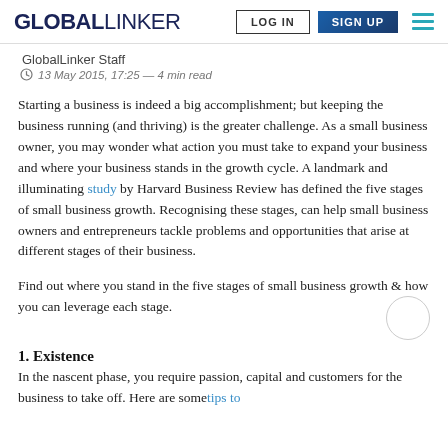GLOBALLINKER  LOG IN  SIGN UP
GlobalLinker Staff
13 May 2015, 17:25 — 4 min read
Starting a business is indeed a big accomplishment; but keeping the business running (and thriving) is the greater challenge. As a small business owner, you may wonder what action you must take to expand your business and where your business stands in the growth cycle. A landmark and illuminating study by Harvard Business Review has defined the five stages of small business growth. Recognising these stages, can help small business owners and entrepreneurs tackle problems and opportunities that arise at different stages of their business.
Find out where you stand in the five stages of small business growth & how you can leverage each stage.
1. Existence
In the nascent phase, you require passion, capital and customers for the business to take off. Here are some tips to